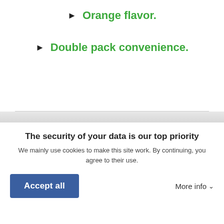Orange flavor.
Double pack convenience.
The security of your data is our top priority
We mainly use cookies to make this site work. By continuing, you agree to their use.
Accept all
More info